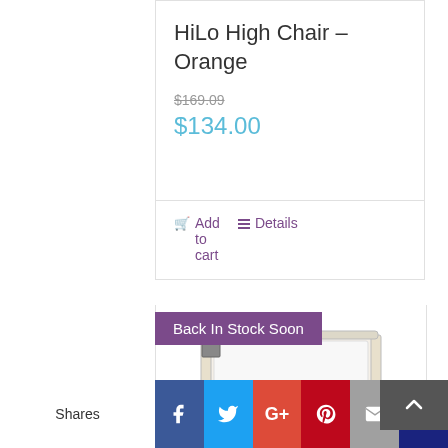HiLo High Chair – Orange
$169.09
$134.00
Add to cart
Details
Back In Stock Soon
[Figure (photo): White baby crib/bassinet with grey metal frame legs]
Shares